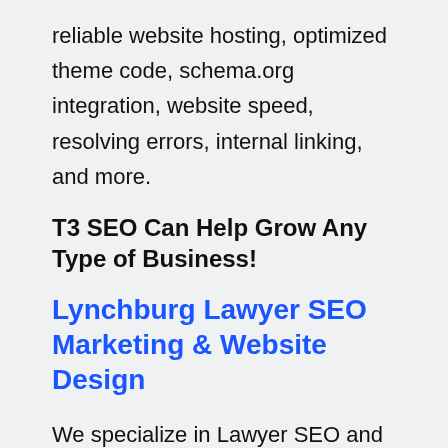reliable website hosting, optimized theme code, schema.org integration, website speed, resolving errors, internal linking, and more.
T3 SEO Can Help Grow Any Type of Business!
Lynchburg Lawyer SEO Marketing & Website Design
We specialize in Lawyer SEO and website design! We have developed numerous SEO optimized law firm websites that have achieved 1st-page rankings in Google for